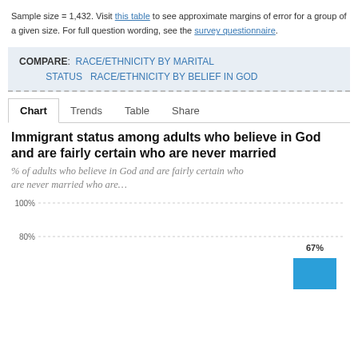Sample size = 1,432. Visit this table to see approximate margins of error for a group of a given size. For full question wording, see the survey questionnaire.
COMPARE: RACE/ETHNICITY BY MARITAL STATUS  RACE/ETHNICITY BY BELIEF IN GOD
Chart  Trends  Table  Share
Immigrant status among adults who believe in God and are fairly certain who are never married
% of adults who believe in God and are fairly certain who are never married who are...
[Figure (bar-chart): Immigrant status among adults who believe in God and are fairly certain who are never married]